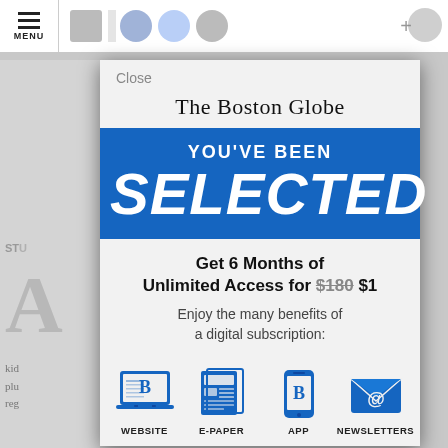[Figure (screenshot): The Boston Globe subscription modal dialog overlay on a newspaper webpage. The modal shows 'YOU'VE BEEN SELECTED' in a blue banner, an offer for 6 Months of Unlimited Access for $1 (regular price $180 struck through), and four benefit icons: Website, E-Paper, App, Newsletters.]
The Boston Globe
YOU'VE BEEN
SELECTED
Get 6 Months of Unlimited Access for $180 $1
Enjoy the many benefits of a digital subscription:
WEBSITE
E-PAPER
APP
NEWSLETTERS